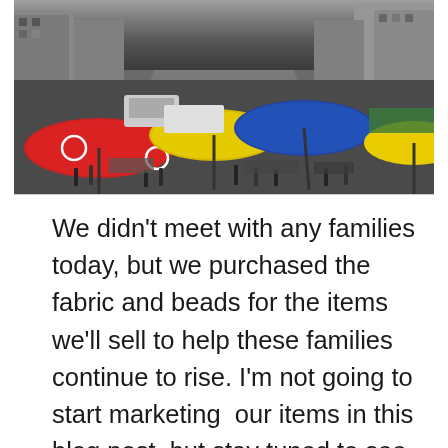[Figure (photo): Aerial view of a busy outdoor market or street scene with colorful umbrellas (red, yellow, blue), crowds of people, vehicles, and multi-story buildings in the background.]
We didn't meet with any families today, but we purchased the fabric and beads for the items we'll sell to help these families continue to rise. I'm not going to start marketing  our items in this blog post, but stay tuned to see what you'll be able to purchase in the coming months. Hint: You'll love shopping with us! The proceeds are going to go directly to the